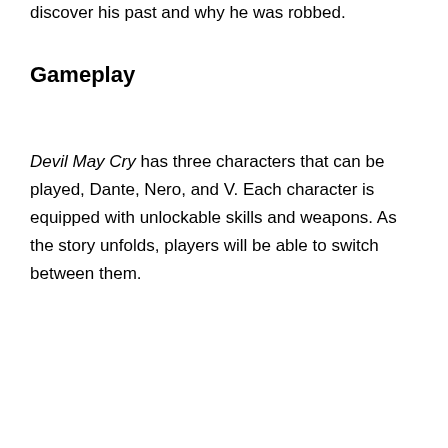discover his past and why he was robbed.
Gameplay
Devil May Cry has three characters that can be played, Dante, Nero, and V. Each character is equipped with unlockable skills and weapons. As the story unfolds, players will be able to switch between them.